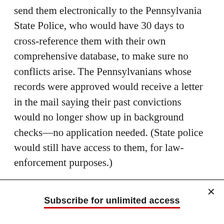send them electronically to the Pennsylvania State Police, who would have 30 days to cross-reference them with their own comprehensive database, to make sure no conflicts arise. The Pennsylvanians whose records were approved would receive a letter in the mail saying their past convictions would no longer show up in background checks—no application needed. (State police would still have access to them, for law-enforcement purposes.)
Subscribe for unlimited access